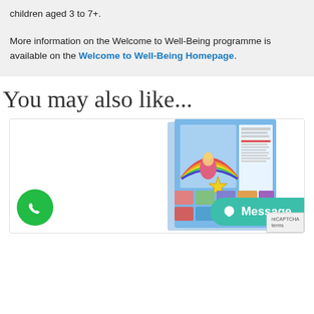children aged 3 to 7+.
More information on the Welcome to Well-Being programme is available on the Welcome to Well-Being Homepage.
You may also like...
[Figure (photo): A book product image showing a colorful children's book set about emotions, featuring illustrated cards with characters, a rainbow motif, and a Russian doll figure.]